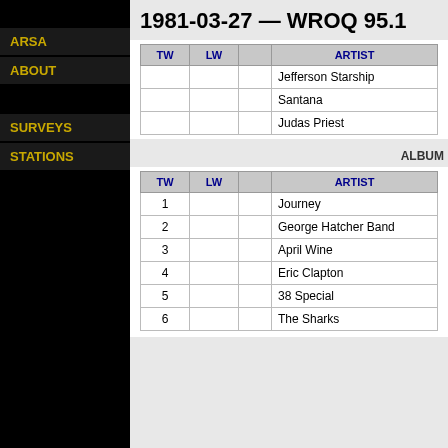1981-03-27 — WROQ 95.1
ARSA
ABOUT
SURVEYS
STATIONS
| TW | LW |  | ARTIST |
| --- | --- | --- | --- |
|  |  |  | Jefferson Starship |
|  |  |  | Santana |
|  |  |  | Judas Priest |
ALBUM
| TW | LW |  | ARTIST |
| --- | --- | --- | --- |
| 1 |  |  | Journey |
| 2 |  |  | George Hatcher Band |
| 3 |  |  | April Wine |
| 4 |  |  | Eric Clapton |
| 5 |  |  | 38 Special |
| 6 |  |  | The Sharks |